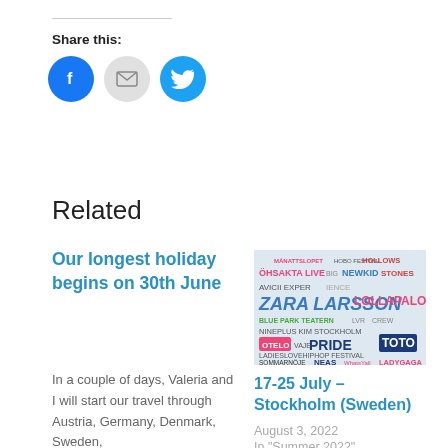Share this:
[Figure (infographic): Three circular social share buttons: Facebook (blue circle with 'f' icon), Email (light gray circle with envelope icon), Twitter (blue circle with bird icon)]
Related
Our longest holiday begins on 30th June
In a couple of days, Valeria and I will start our travel through Austria, Germany, Denmark, Sweden,
[Figure (photo): Colorful music festival poster showing event names including ZARA LARSSON, LOLLAPALOOZA, AVICII EXPERIENCE, PARK TEATERN, KIM STOCKHOLM, PRIDE, TOTO, NEWKID, LADY GAGA and more]
17-25 July – Stockholm (Sweden)
August 3, 2022
In "Summer 2022"